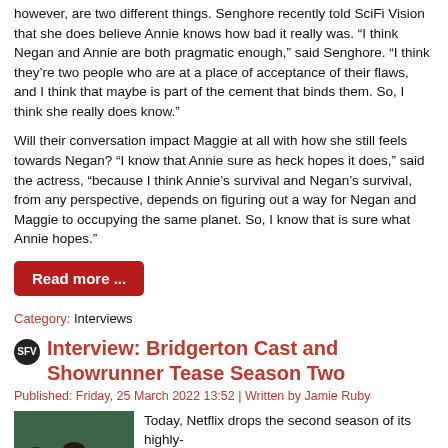however, are two different things. Senghore recently told SciFi Vision that she does believe Annie knows how bad it really was. “I think Negan and Annie are both pragmatic enough,” said Senghore. “I think they’re two people who are at a place of acceptance of their flaws, and I think that maybe is part of the cement that binds them. So, I think she really does know.”
Will their conversation impact Maggie at all with how she still feels towards Negan? “I know that Annie sure as heck hopes it does,” said the actress, “because I think Annie’s survival and Negan’s survival, from any perspective, depends on figuring out a way for Negan and Maggie to occupying the same planet. So, I know that is sure what Annie hopes.”
Read more ...
Category: Interviews
Interview: Bridgerton Cast and Showrunner Tease Season Two
Published: Friday, 25 March 2022 13:52 | Written by Jamie Ruby
[Figure (photo): Bridgerton cast promotional photo with three actors, green background, BRIDGERTON text label at bottom]
Today, Netflix drops the second season of its highly-